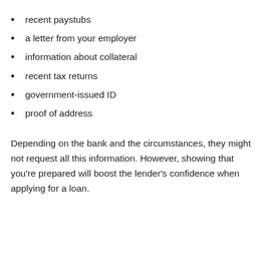recent paystubs
a letter from your employer
information about collateral
recent tax returns
government-issued ID
proof of address
Depending on the bank and the circumstances, they might not request all this information. However, showing that you're prepared will boost the lender's confidence when applying for a loan.